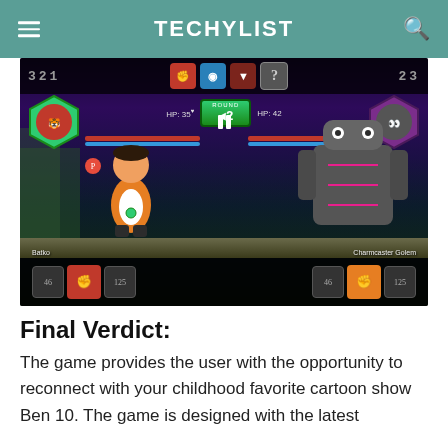TECHYLIST
[Figure (screenshot): Ben 10 video game screenshot showing a battle scene. Ben (in orange suit) faces Charmcaster Golem. HUD shows Round 02, HP: 35 and HP: 42. Top bar shows score 321 and 23. Bottom shows action icons.]
Final Verdict:
The game provides the user with the opportunity to reconnect with your childhood favorite cartoon show Ben 10. The game is designed with the latest